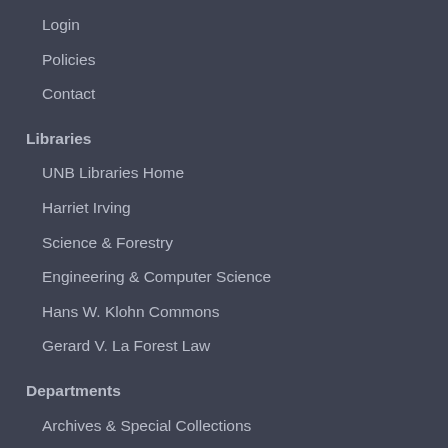Login
Policies
Contact
Libraries
UNB Libraries Home
Harriet Irving
Science & Forestry
Engineering & Computer Science
Hans W. Klohn Commons
Gerard V. La Forest Law
Departments
Archives & Special Collections